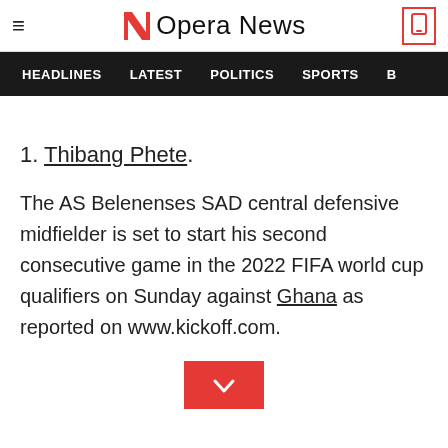Opera News
HEADLINES  LATEST  POLITICS  SPORTS
1. Thibang Phete.
The AS Belenenses SAD central defensive midfielder is set to start his second consecutive game in the 2022 FIFA world cup qualifiers on Sunday against Ghana as reported on www.kickoff.com.